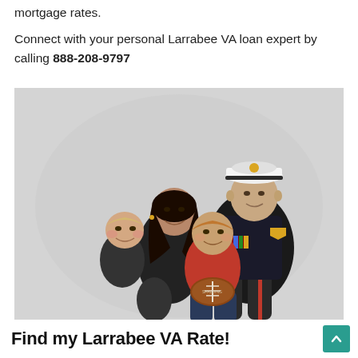mortgage rates.
Connect with your personal Larrabee VA loan expert by calling 888-208-9797
[Figure (photo): Military family portrait showing a US Marine in dress uniform sitting with his wife and two young children, one holding a football, against a light grey background]
Find my Larrabee VA Rate!